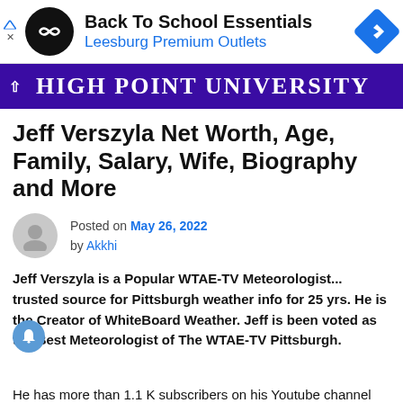[Figure (infographic): Advertisement banner for Leesburg Premium Outlets - Back To School Essentials with circular logo, navigation arrow icon, and small triangle/x ad controls]
[Figure (logo): High Point University banner with purple background, white uppercase serif text, and up-caret arrow icon on left]
Jeff Verszyla Net Worth, Age, Family, Salary, Wife, Biography and More
Posted on May 26, 2022 by Akkhi
Jeff Verszyla is a Popular WTAE-TV Meteorologist... trusted source for Pittsburgh weather info for 25 yrs. He is the Creator of WhiteBoard Weather. Jeff is been voted as the Best Meteorologist of The WTAE-TV Pittsburgh.
He has more than 1.1 K subscribers on his Youtube channel